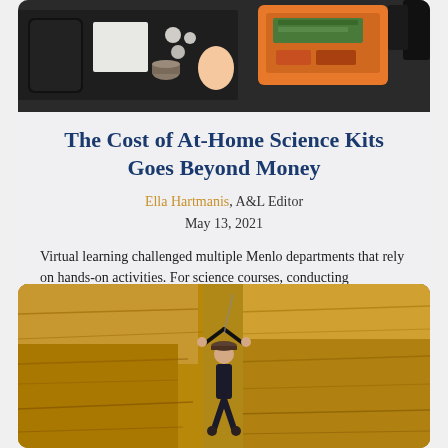[Figure (photo): Top-down view of science kit supplies including phone, test tubes, containers, orange box with supplies, egg, and other materials on a dark surface]
The Cost of At-Home Science Kits Goes Beyond Money
Ella Hartmanis, A&L Editor
May 13, 2021
Virtual learning challenged multiple Menlo departments that rely on hands-on activities. For science courses, conducting experiments can be a critical...
[Figure (photo): Person rock climbing on a sandstone cliff face, hanging from the rock with arms raised]